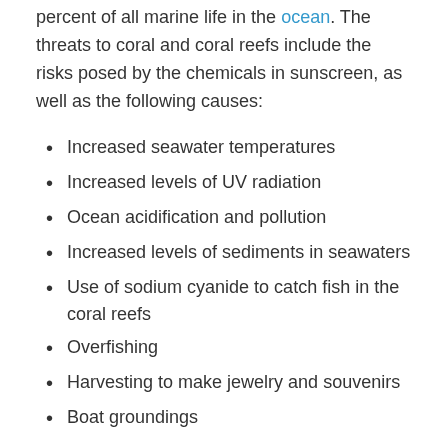percent of all marine life in the ocean. The threats to coral and coral reefs include the risks posed by the chemicals in sunscreen, as well as the following causes:
Increased seawater temperatures
Increased levels of UV radiation
Ocean acidification and pollution
Increased levels of sediments in seawaters
Use of sodium cyanide to catch fish in the coral reefs
Overfishing
Harvesting to make jewelry and souvenirs
Boat groundings